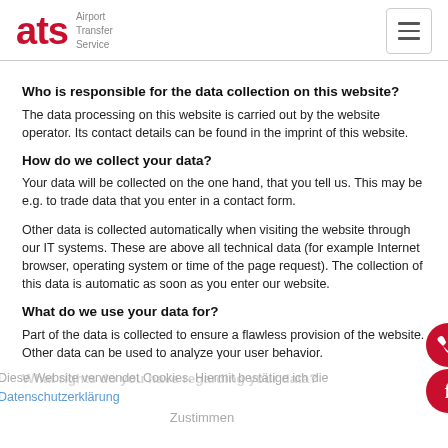ats Airport Transfer Service
Who is responsible for the data collection on this website?
The data processing on this website is carried out by the website operator. Its contact details can be found in the imprint of this website.
How do we collect your data?
Your data will be collected on the one hand, that you tell us. This may be e.g. to trade data that you enter in a contact form.
Other data is collected automatically when visiting the website through our IT systems. These are above all technical data (for example Internet browser, operating system or time of the page request). The collection of this data is automatic as soon as you enter our website.
What do we use your data for?
Part of the data is collected to ensure a flawless provision of the website. Other data can be used to analyze your user behavior.
What rights do you have regarding your data?